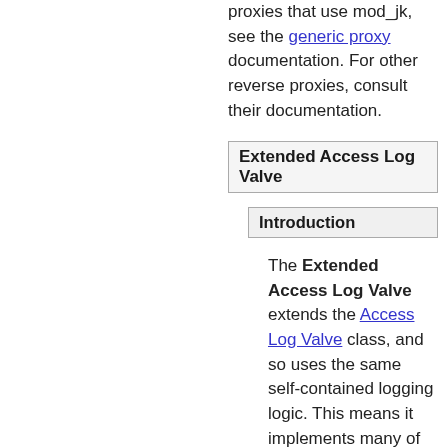proxies that use mod_jk, see the generic proxy documentation. For other reverse proxies, consult their documentation.
Extended Access Log Valve
Introduction
The Extended Access Log Valve extends the Access Log Valve class, and so uses the same self-contained logging logic. This means it implements many of the same file handling attributes. The main difference to the standard AccessLogValve is that ExtendedAccessLogValve creates log files which